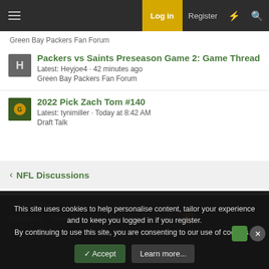Log in  Register
Green Bay Packers Fan Forum
Packers vs Saints Preseason Game 2: Game Thread
Latest: Heyjoe4 · 42 minutes ago
Green Bay Packers Fan Forum
2022 Pick Zach Tom #140
Latest: tynimiller · Today at 8:42 AM
Draft Talk
< NFL Discussions
✏ Light style
Contact us  Terms and rules  Privacy policy  Help  [RSS]
Community platform by XenForo® © 2010-2022 XenForo Ltd.
This site uses cookies to help personalise content, tailor your experience and to keep you logged in if you register.
By continuing to use this site, you are consenting to our use of cookies.
Accept  Learn more...